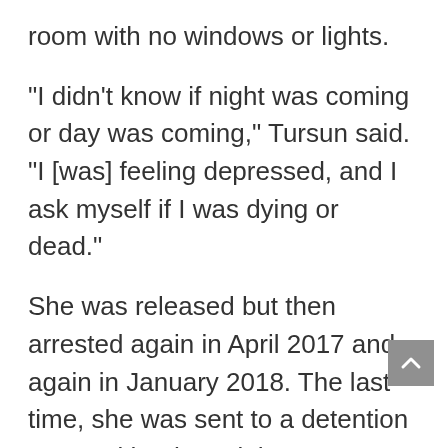room with no windows or lights.
“I didn’t know if night was coming or day was coming,” Tursun said. “I [was] feeling depressed, and I ask myself if I was dying or dead.”
She was released but then arrested again in April 2017 and again in January 2018. The last time, she was sent to a detention camp with other Uighur women. While there, Tursun said she was forced to drink what she calls a “medicine” and that she was also injected with an unknown liquid three times.
With help from U.S. officials, Tursun reached the